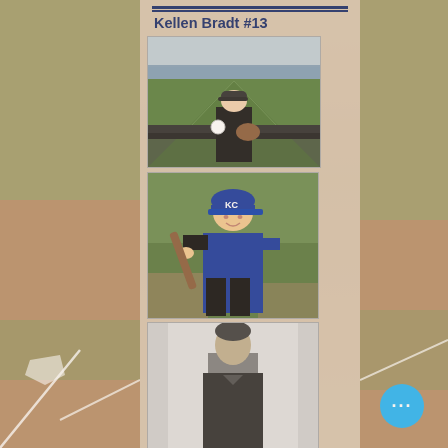Kellen Bradt #13
[Figure (photo): Young boy at a baseball stadium holding a ball with a glove, standing in front of the field]
[Figure (photo): Young boy in blue KC Royals uniform holding a baseball bat, posing on a baseball field]
[Figure (photo): Black and white photo of a young person, partially visible]